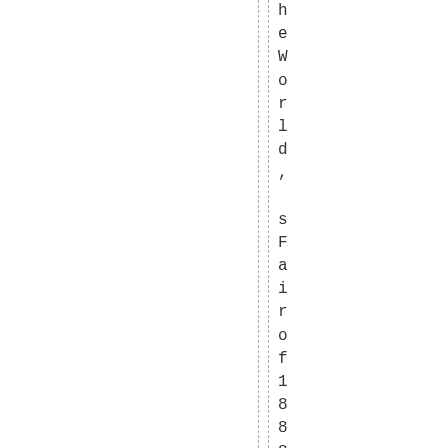heWorld, sFairof1888 .Itcurrently